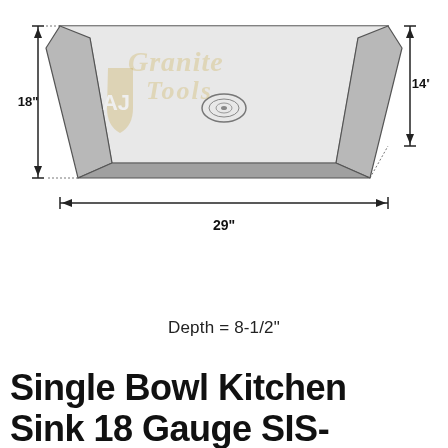[Figure (engineering-diagram): Top-view engineering diagram of a single bowl stainless steel kitchen sink with dimensions: 29 inches wide, 18 inches deep (back), 14 inches (front), with AJ Granite Tools watermark logo overlaid. Dimension arrows indicate width of 29 inches along the bottom, height of 18 inches on the left, and 14 inches on the right.]
Depth = 8-1/2"
Single Bowl Kitchen Sink 18 Gauge SIS-